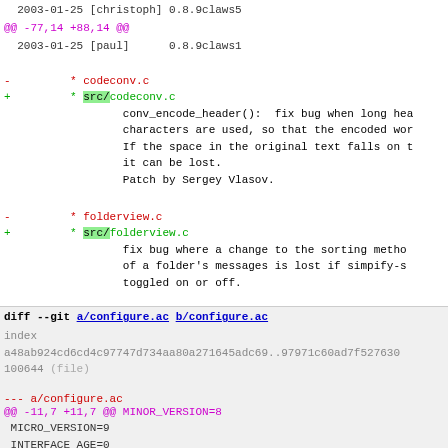2003-01-25 [christoph] 0.8.9claws5
@@ -77,14 +88,14 @@
2003-01-25 [paul]      0.8.9claws1
-         * codeconv.c
+         * src/codeconv.c
                  conv_encode_header():  fix bug when long hea
                  characters are used, so that the encoded wor
                  If the space in the original text falls on t
                  it can be lost.
                  Patch by Sergey Vlasov.
-         * folderview.c
+         * src/folderview.c
                  fix bug where a change to the sorting metho
                  of a folder's messages is lost if simpify-s
                  toggled on or off.
diff --git a/configure.ac b/configure.ac
index
a48ab924cd6cd4c97747d734aa80a271645adc69..97971c60ad7f527630
100644 (file)
--- a/configure.ac
+++ b/configure.ac
@@ -11,7 +11,7 @@ MINOR_VERSION=8
MICRO_VERSION=9
 INTERFACE_AGE=0
 BINARY_AGE=0
-EXTRA_VERSION=claws10
+EXTRA_VERSION=claws11
 VERSION=$MAJOR_VERSION.$MINOR_VERSION.$MICRO_VERSION$EXTRA